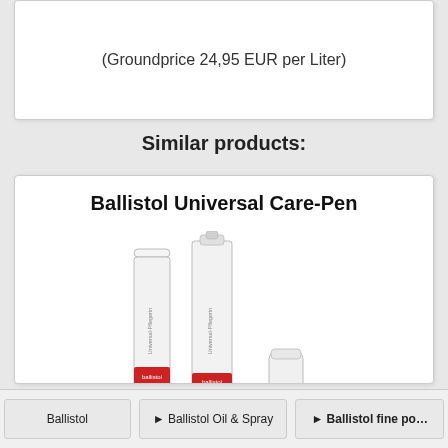(Groundprice 24,95 EUR per Liter)
Similar products:
Ballistol Universal Care-Pen
[Figure (photo): Two white Ballistol Universal Care-Pen markers with red label bands, one with cap on and one with cap off, plus the removed cap shown separately]
Ballistol
► Ballistol Oil & Spray
► Ballistol fine po...